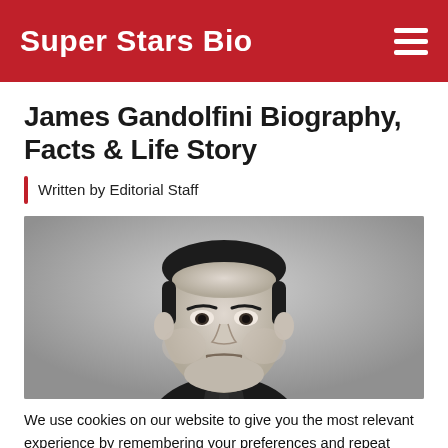Super Stars Bio
James Gandolfini Biography, Facts & Life Story
Written by Editorial Staff
[Figure (photo): Black and white portrait photo of James Gandolfini, a heavyset man with short dark hair, wearing a dark suit, with a serious expression, photographed against a light grey background.]
We use cookies on our website to give you the most relevant experience by remembering your preferences and repeat visits. By